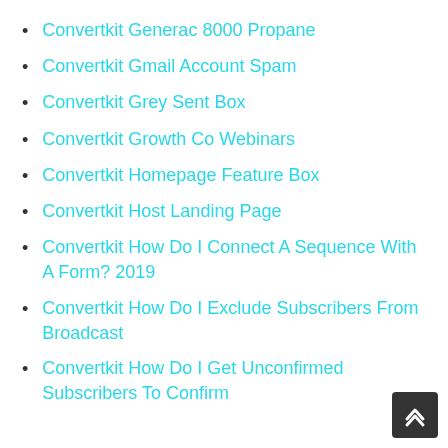Convertkit Generac 8000 Propane
Convertkit Gmail Account Spam
Convertkit Grey Sent Box
Convertkit Growth Co Webinars
Convertkit Homepage Feature Box
Convertkit Host Landing Page
Convertkit How Do I Connect A Sequence With A Form? 2019
Convertkit How Do I Exclude Subscribers From Broadcast
Convertkit How Do I Get Unconfirmed Subscribers To Confirm